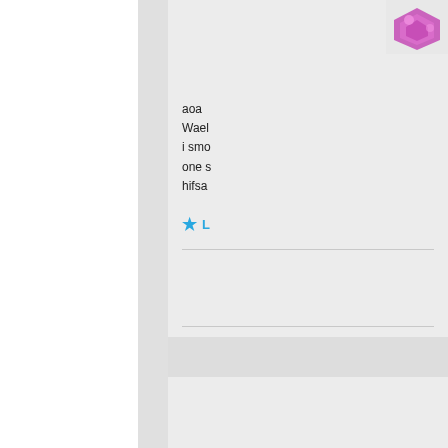[Figure (illustration): Purple/pink geometric avatar icon for user comment]
aoa
Wael
i smo
one s
hifsa
Like
[Figure (illustration): Gold/yellow geometric quilt-pattern avatar icon for second user comment]
Been there
unemployed
otherwise yo
Kids and all
Like